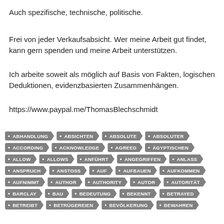Auch spezifische, technische, politische.
Frei von jeder Verkaufsabsicht. Wer meine Arbeit gut findet, kann gern spenden und meine Arbeit unterstützen.
Ich arbeite soweit als möglich auf Basis von Fakten, logischen Deduktionen, evidenzbasierten Zusammenhängen.
https://www.paypal.me/ThomasBlechschmidt
ABHANDLUNG
ABSICHTEN
ABSOLUTE
ABSOLUTER
ACCORDING
ACKNOWLEDGE
AGREED
ÄGYPTISCHEN
ALLOW
ALLOWS
ANFÜHRT
ANGEGRIFFEN
ANLASS
ANSPRUCH
ANSTOSS
AUF
AUFBAUEN
AUFKOMMEN
AUFNIMMT
AUTHOR
AUTHORITY
AUTOR
AUTORITÄT
BARCLAY
BAU
BEDEUTUNG
BEKENNT
BETRAYED
BETREIBT
BETRÜGEREIEN
BEVÖLKERUNG
BEWAHREN